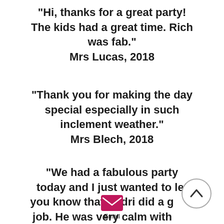"Hi, thanks for a great party! The kids had a great time. Rich was fab."
Mrs Lucas, 2018
"Thank you for making the day special especially in such inclement weather."
Mrs Blech, 2018
"We had a fabulous party today and I just wanted to let you know that Endri did a great job. He was very calm with the children and they absolutely
[Figure (other): Scroll-up circular button with chevron icon, and an email button (pink envelope icon with 'Email' label below)]